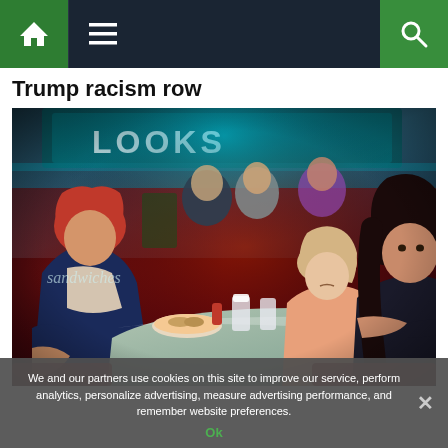[Figure (screenshot): Website navigation bar with home icon (green), hamburger menu icon, and search icon (green) on dark navy background]
Trump racism row
[Figure (photo): Promotional photo for the TV show Riverdale showing young cast members sitting in a retro diner booth with neon lighting. A red-haired male character is on the left, two female characters sit on the right side of the booth, and two additional characters are visible in the background.]
We and our partners use cookies on this site to improve our service, perform analytics, personalize advertising, measure advertising performance, and remember website preferences.
Ok